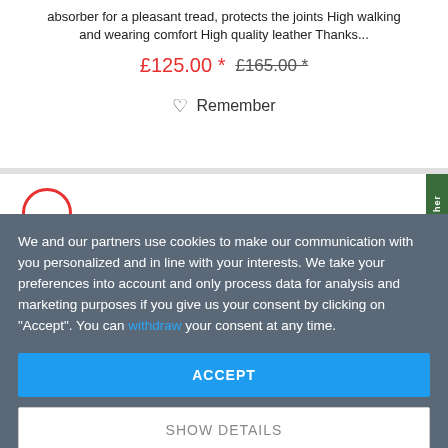absorber for a pleasant tread, protects the joints High walking and wearing comfort High quality leather Thanks...
£125.00 * £165.00 *
Remember
We and our partners use cookies to make our communication with you personalized and in line with your interests. We take your preferences into account and only process data for analysis and marketing purposes if you give us your consent by clicking on "Accept". You can withdraw your consent at any time.
ACCEPT
SHOW DETAILS
Imprint | Privacy Policy